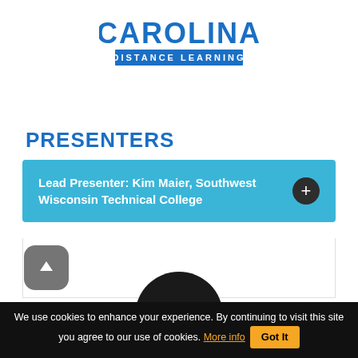[Figure (logo): Carolina Distance Learning logo — bold blue stylized text 'CAROLINA' with a thermometer icon in the O, and 'DISTANCE LEARNING' in a blue rectangle below]
PRESENTERS
Lead Presenter: Kim Maier, Southwest Wisconsin Technical College
[Figure (photo): Silhouette placeholder avatar — dark circular profile picture]
We use cookies to enhance your experience. By continuing to visit this site you agree to our use of cookies. More info  Got It